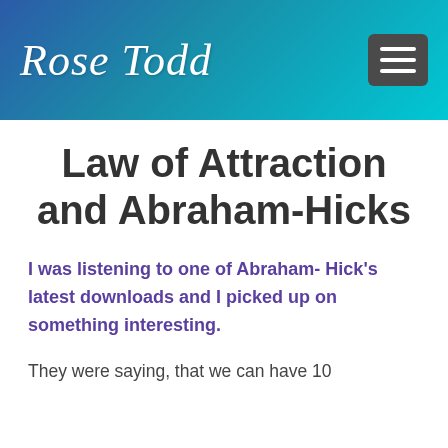Rose Todd
Law of Attraction and Abraham-Hicks
I was listening to one of Abraham- Hick's latest downloads and I picked up on something interesting.
They were saying, that we can have 10